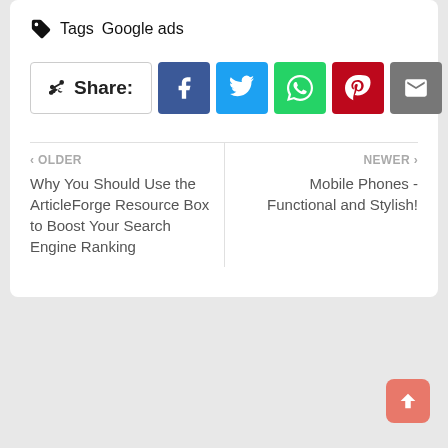Tags  Google ads
[Figure (infographic): Share buttons row: Share label, Facebook, Twitter, WhatsApp, Pinterest, Email, and plus button]
< OLDER
Why You Should Use the ArticleForge Resource Box to Boost Your Search Engine Ranking
NEWER >
Mobile Phones - Functional and Stylish!